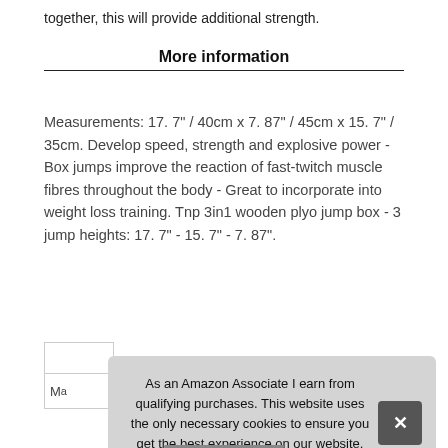together, this will provide additional strength.
More information
Measurements: 17. 7" / 40cm x 7. 87" / 45cm x 15. 7" / 35cm. Develop speed, strength and explosive power - Box jumps improve the reaction of fast-twitch muscle fibres throughout the body - Great to incorporate into weight loss training. Tnp 3in1 wooden plyo jump box - 3 jump heights: 17. 7" - 15. 7" - 7. 87".
As an Amazon Associate I earn from qualifying purchases. This website uses the only necessary cookies to ensure you get the best experience on our website. More information